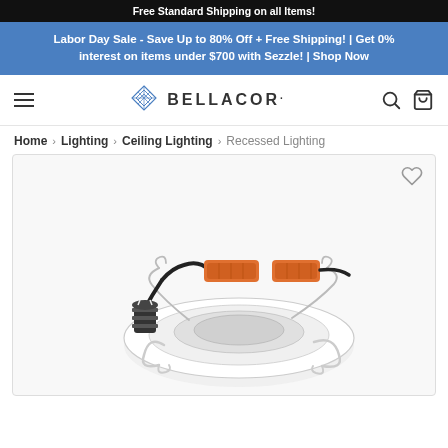Free Standard Shipping on all Items!
Labor Day Sale - Save Up to 80% Off + Free Shipping! | Get 0% interest on items under $700 with Sezzle! | Shop Now
[Figure (logo): Bellacor logo with diamond/lattice icon and navigation bar with hamburger menu, search and cart icons]
Home > Lighting > Ceiling Lighting > Recessed Lighting
[Figure (photo): Recessed lighting retrofit kit — a round white LED downlight baffle with spring clips and an orange wiring connector/adapter with E26 base, viewed from above at an angle]